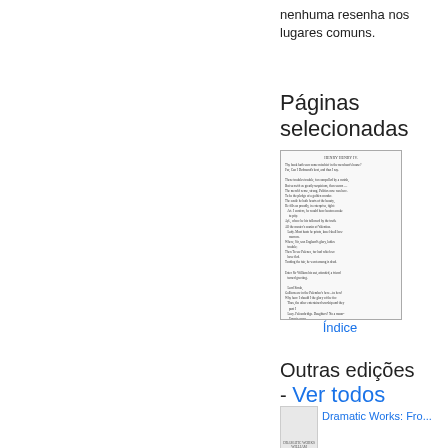nenhuma resenha nos lugares comuns.
Páginas selecionadas
[Figure (illustration): Thumbnail image of a book page with dense small text in a bordered box]
Índice
Outras edições - Ver todos
[Figure (illustration): Thumbnail of book cover for Dramatic Works]
Dramatic Works: Fro...